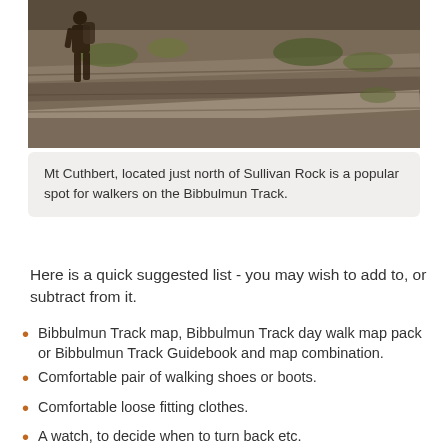[Figure (photo): A hiker walking on a rocky trail, viewed from behind. The trail shows rocky slabs with patches of vegetation, typical of the Bibbulmun Track landscape.]
Mt Cuthbert, located just north of Sullivan Rock is a popular spot for walkers on the Bibbulmun Track.
Here is a quick suggested list - you may wish to add to, or subtract from it.
Bibbulmun Track map, Bibbulmun Track day walk map pack or Bibbulmun Track Guidebook and map combination.
Comfortable pair of walking shoes or boots.
Comfortable loose fitting clothes.
A watch, to decide when to turn back etc.
Sun hat.
A small daypack containing:
A bottle of water (1-2 litres depending on distance,